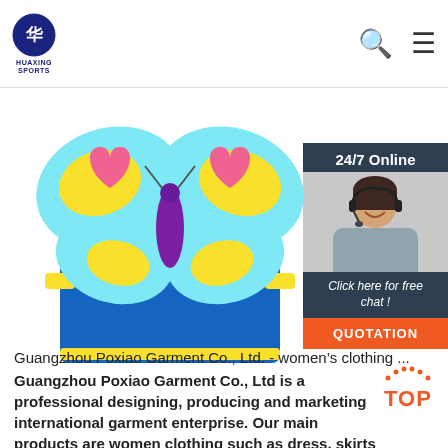HUAXING SPORTS
[Figure (photo): Butterfly-shaped children's life jacket / swim vest in blue with teal, yellow, pink and purple butterfly design, with yellow straps, displayed against white background]
[Figure (infographic): 24/7 Online chat widget with female customer service representative wearing headset, button reading 'Click here for free chat!' and orange QUOTATION button]
Guangzhou Poxiao Garment Co., Ltd. - women’s clothing ...
Guangzhou Poxiao Garment Co., Ltd is a professional designing, producing and marketing international garment enterprise. Our main products are women clothing such as dress, skirts